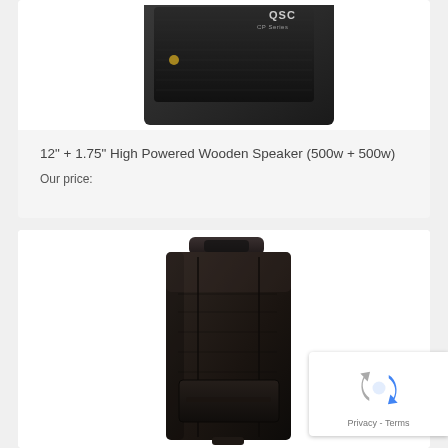[Figure (photo): QSC powered speaker, black, top angled view, shown partially cropped at top]
12” + 1.75” High Powered Wooden Speaker (500w + 500w)
Our price:
[Figure (photo): Black padded speaker cover/bag for a large speaker cabinet, standing upright on white background]